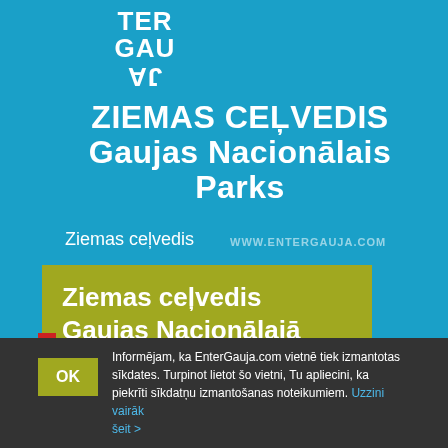[Figure (logo): TER GAU JA logo in white text on blue background]
ZIEMAS CEĻVEDIS Gaujas Nacionālais Parks
Ziemas ceļvedis
WWW.ENTERGAUJA.COM
Ziemas ceļvedis Gaujas Nacionālajā parkā
Informējam, ka EnterGauja.com vietnē tiek izmantotas sīkdates. Turpinot lietot šo vietni, Tu apliecini, ka piekrīti sīkdatņu izmantošanas noteikumiem. Uzzini vairāk šeit >